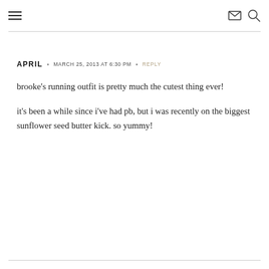≡  ✉  🔍
APRIL  •  MARCH 25, 2013 AT 6:30 PM  •  REPLY

brooke's running outfit is pretty much the cutest thing ever!

it's been a while since i've had pb, but i was recently on the biggest sunflower seed butter kick. so yummy!